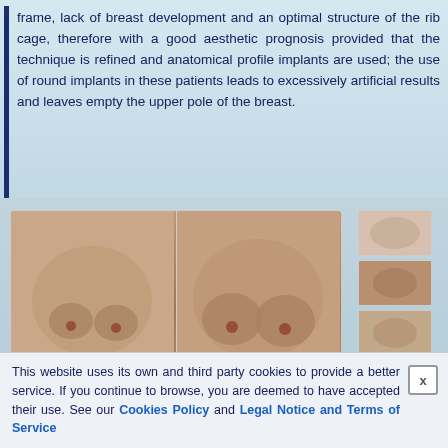frame, lack of breast development and an optimal structure of the rib cage, therefore with a good aesthetic prognosis provided that the technique is refined and anatomical profile implants are used; the use of round implants in these patients leads to excessively artificial results and leaves empty the upper pole of the breast.
[Figure (photo): Before and after photos of breast augmentation surgery, showing left (before) and right (after) views. Watermark reads 'Dr. Alejandro Nogueira'. Thumbnail strip of additional views on the right side.]
This website uses its own and third party cookies to provide a better service. If you continue to browse, you are deemed to have accepted their use. See our Cookies Policy and Legal Notice and Terms of Service